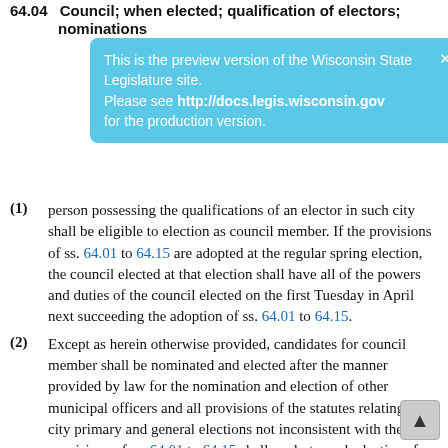64.04 Council; when elected; qualification of electors; nominations
[Figure (infographic): Blue notification box: 'This is the preview version of the Wisconsin State Legislature site. Please see http://docs.legis.wisconsin.gov for the production version.' with a close X button.]
(1) person possessing the qualifications of an elector in such city shall be eligible to election as council member. If the provisions of ss. 64.01 to 64.15 are adopted at the regular spring election, the council elected at that election shall have all of the powers and duties of the council elected on the first Tuesday in April next succeeding the adoption of ss. 64.01 to 64.15.
(2) Except as herein otherwise provided, candidates for council member shall be nominated and elected after the manner provided by law for the nomination and election of other municipal officers and all provisions of the statutes relating to city primary and general elections not inconsistent with the provisions of ss. 64.01 to 64.15 shall apply to such elections for cities reorganized under ss. 64.01 to 64.15 the same as to cities organized under general law.
History: 1981 c. 390; 1985 a. 135 s. 83 (1); 1995 a. 16 s. 2.
64.05 Term of council members.
(1) The term of office of such council member shall begin on third Tuesday in April. If the term of council member as